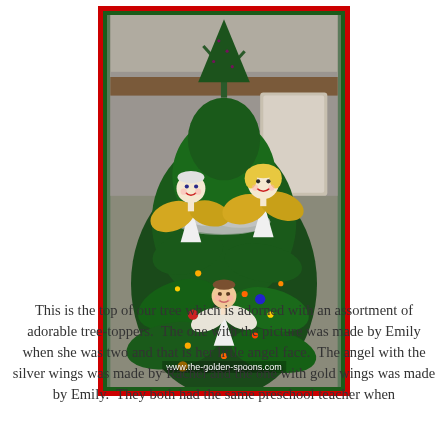[Figure (photo): Photo of the top of a Christmas tree adorned with handmade angel tree-toppers. Two larger angels with ball-shaped heads (one with silver hair, one with yellow hair) sit near the top, and a smaller angel ornament with a child's photo face and hand-shaped wings is nestled in the branches below. The tree has tinsel and lights. A watermark reads www.the-golden-spoons.com. The photo has a red outer border and dark green inner border.]
This is the top of our tree which is adorned with an assortment of adorable tree-toppers.  The one with the picture was made by Emily when she was two and that is her little angel face.  The angel with the silver wings was made by Rachel and the one with gold wings was made by Emily.  They both had the same preschool teacher when